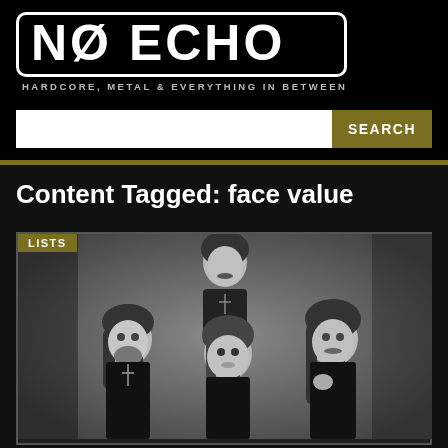[Figure (logo): No Echo logo — white bold text in rounded bordered box. Tagline: HARDCORE, METAL & EVERYTHING IN BETWEEN]
SEARCH
Content Tagged: face value
LISTS
[Figure (photo): Black and white portrait photo of four long-haired rock band members (Black Sabbath), one standing in back and three in front, classic 1970s style.]